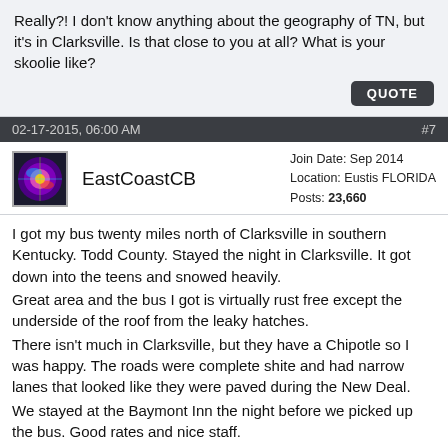Really?! I don't know anything about the geography of TN, but it's in Clarksville. Is that close to you at all? What is your skoolie like?
QUOTE
02-17-2015, 06:00 AM   #7
EastCoastCB  Join Date: Sep 2014  Location: Eustis FLORIDA  Posts: 23,660
I got my bus twenty miles north of Clarksville in southern Kentucky. Todd County. Stayed the night in Clarksville. It got down into the teens and snowed heavily.
Great area and the bus I got is virtually rust free except the underside of the roof from the leaky hatches.
There isn't much in Clarksville, but they have a Chipotle so I was happy. The roads were complete shite and had narrow lanes that looked like they were paved during the New Deal.
We stayed at the Baymont Inn the night before we picked up the bus. Good rates and nice staff.
Be glad you won't be going south on I24. Between Nashville and Chattanooga there are some nasty grades to contend with.
Did yall get the TC that was at auction? Pics?